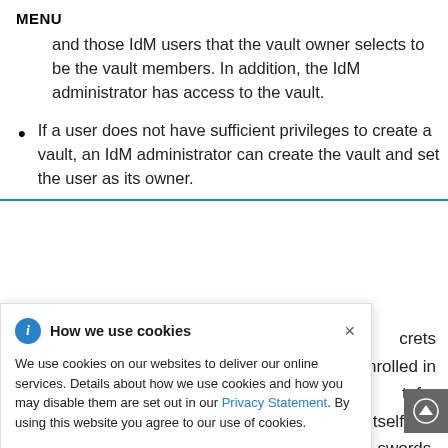MENU
and those IdM users that the vault owner selects to be the vault members. In addition, the IdM administrator has access to the vault.
If a user does not have sufficient privileges to create a vault, an IdM administrator can create the vault and set the user as its owner.
crets
nrolled in
t, for
tself can
swords,
keytabs or certificates.
How we use cookies
We use cookies on our websites to deliver our online services. Details about how we use cookies and how you may disable them are set out in our Privacy Statement. By using this website you agree to our use of cookies.